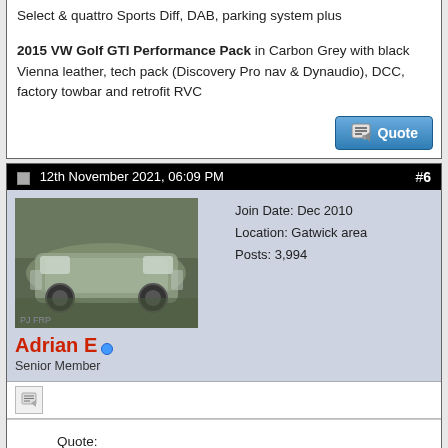Select & quattro Sports Diff, DAB, parking system plus
2015 VW Golf GTI Performance Pack in Carbon Grey with black Vienna leather, tech pack (Discovery Pro nav & Dynaudio), DCC, factory towbar and retrofit RVC
[Figure (screenshot): Quote button with pencil icon]
12th November 2021, 06:09 PM  #6
[Figure (photo): Avatar photo of a silver Audi car]
Adrian E  Senior Member
Join Date: Dec 2010
Location: Gatwick area
Posts: 3,994
[Figure (screenshot): Post tools icon]
Quote:
Originally Posted by HPsauce
Hi Adrian, can't help with the bags (I don't bother with them) but I can say CC2s really do work all year, summer and winter.
Thanks Andrew
Yeah, the reviews look positive for our kind of climate. It also saves the 20s being exposed to winter salt
Going to go for a slightly darker shade than they are now (the